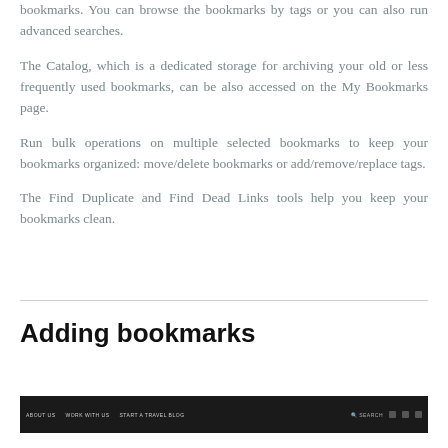bookmarks. You can browse the bookmarks by tags or you can also run advanced searches.
The Catalog, which is a dedicated storage for archiving your old or less frequently used bookmarks, can be also accessed on the My Bookmarks page.
Run bulk operations on multiple selected bookmarks to keep your bookmarks organized: move/delete bookmarks or add/remove/replace tags.
The Find Duplicate and Find Dead Links tools help you keep your bookmarks clean.
Adding bookmarks
[Figure (screenshot): Screenshot of a dark navigation bar with menu items: ABOUT US, WORK WITH US, START A TRAVEL BLOG, and right-side icons including SEARCH, and social media icons]